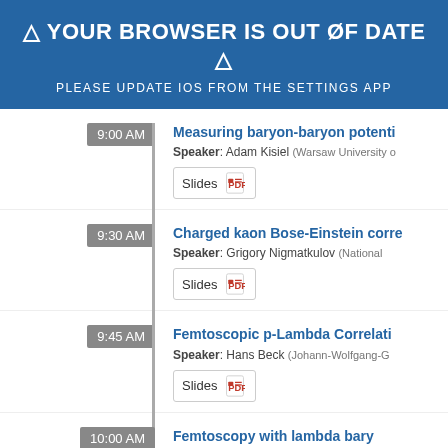⚠ YOUR BROWSER IS OUT OF DATE ⚠
PLEASE UPDATE IOS FROM THE SETTINGS APP
9:00 AM — Measuring baryon-baryon potenti... Speaker: Adam Kisiel (Warsaw University of...)
9:30 AM — Charged kaon Bose-Einstein corre... Speaker: Grigory Nigmatkulov (National...)
9:45 AM — Femtoscopic p-Lambda Correlati... Speaker: Hans Beck (Johann-Wolfgang-G...)
10:00 AM — Femtoscopy with lambda bary...